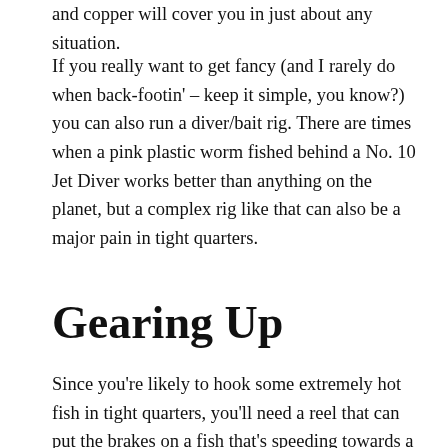and copper will cover you in just about any situation.
If you really want to get fancy (and I rarely do when back-footin' – keep it simple, you know?) you can also run a diver/bait rig. There are times when a pink plastic worm fished behind a No. 10 Jet Diver works better than anything on the planet, but a complex rig like that can also be a major pain in tight quarters.
Gearing Up
Since you're likely to hook some extremely hot fish in tight quarters, you'll need a reel that can put the brakes on a fish that's speeding towards a root wad, a rapid or tree limb. So with that in mind, don't try this with cheesy reels. The are lots of quality reels out there — you don't have to spend a million bucks but make sure you get one thats going to hold up to the stress you're likely to put it